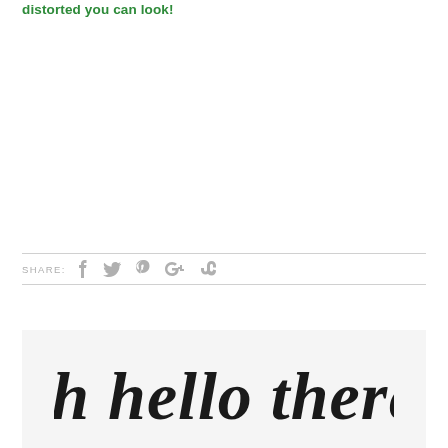distorted you can look!
SHARE: f t p G+ su
[Figure (illustration): Oh hello there! script text in decorative cursive font on light gray background]